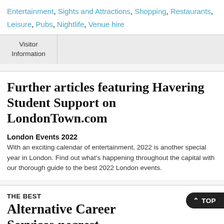Entertainment, Sights and Attractions, Shopping, Restaurants, Leisure, Pubs, Nightlife, Venue hire
| Visitor Information |  |
| --- | --- |
Further articles featuring Havering Student Support on LondonTown.com
London Events 2022
With an exciting calendar of entertainment, 2022 is another special year in London. Find out what's happening throughout the capital with our thorough guide to the best 2022 London events.
THE BEST
Alternative Career Services nearest Havering Student Support